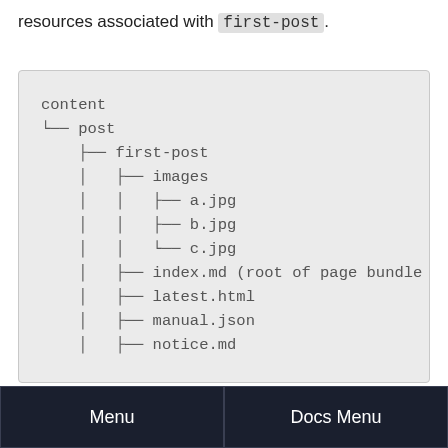resources associated with first-post.
[Figure (other): Directory tree showing content/post/first-post with subdirectories: images (containing a.jpg, b.jpg, c.jpg), index.md (root of page bundle), latest.html, manual.json, notice.md]
Menu | Docs Menu